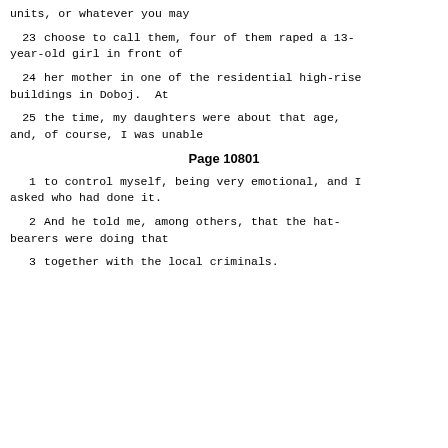units, or whatever you may
23     choose to call them, four of them raped a 13-year-old girl in front of
24     her mother in one of the residential high-rise buildings in Doboj.  At
25     the time, my daughters were about that age, and, of course, I was unable
Page 10801
1      to control myself, being very emotional, and I asked who had done it.
2      And he told me, among others, that the hat-bearers were doing that
3      together with the local criminals.